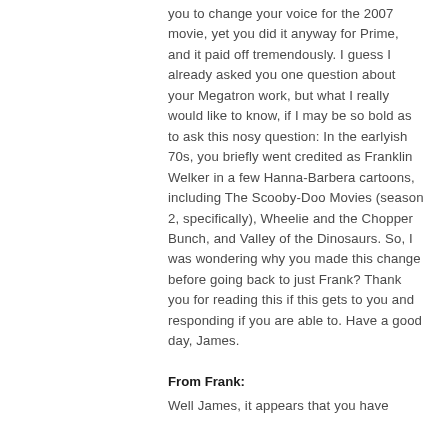you to change your voice for the 2007 movie, yet you did it anyway for Prime, and it paid off tremendously. I guess I already asked you one question about your Megatron work, but what I really would like to know, if I may be so bold as to ask this nosy question: In the earlyish 70s, you briefly went credited as Franklin Welker in a few Hanna-Barbera cartoons, including The Scooby-Doo Movies (season 2, specifically), Wheelie and the Chopper Bunch, and Valley of the Dinosaurs. So, I was wondering why you made this change before going back to just Frank? Thank you for reading this if this gets to you and responding if you are able to. Have a good day, James.
From Frank:
Well James, it appears that you have